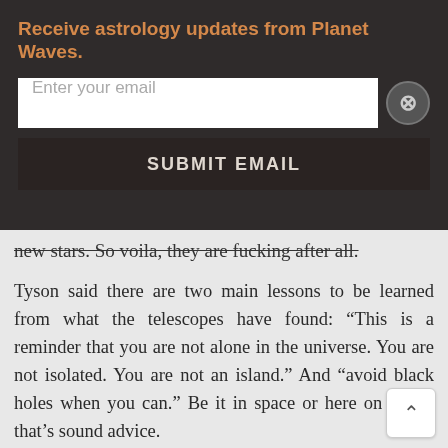Receive astrology updates from Planet Waves.
Enter your email
SUBMIT EMAIL
new stars. So voila, they are fucking after all.
Tyson said there are two main lessons to be learned from what the telescopes have found: “This is a reminder that you are not alone in the universe. You are not isolated. You are not an island.” And “avoid black holes when you can.” Be it in space or here on Earth, that’s sound advice.
By Eric Francis with research by Priya Kale
Capricorn Solstice and Cancer Full Moon By Kirsti Melto and Eric Francis | Lunations